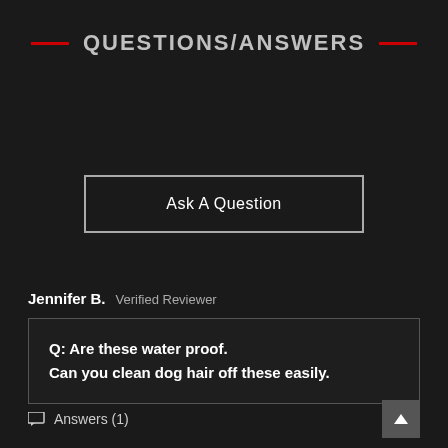QUESTIONS/ANSWERS
Ask A Question
Jennifer B.  Verified Reviewer
Q: Are these water proof. Can you clean dog hair off these easily.
Answers (1)